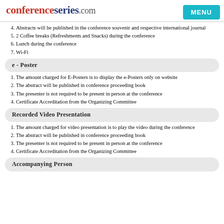conferenceseries.com MENU
4. Abstracts will be published in the conference souvenir and respective international journal
5. 2 Coffee breaks (Refreshments and Snacks) during the conference
6. Lunch during the conference
7. Wi-Fi
e - Poster
1. The amount charged for E-Posters is to display the e-Posters only on website
2. The abstract will be published in conference proceeding book
3. The presenter is not required to be present in person at the conference
4. Certificate Accreditation from the Organizing Committee
Recorded Video Presentation
1. The amount charged for video presentation is to play the video during the conference
2. The abstract will be published in conference proceeding book
3. The presenter is not required to be present in person at the conference
4. Certificate Accreditation from the Organizing Committee
Accompanying Person